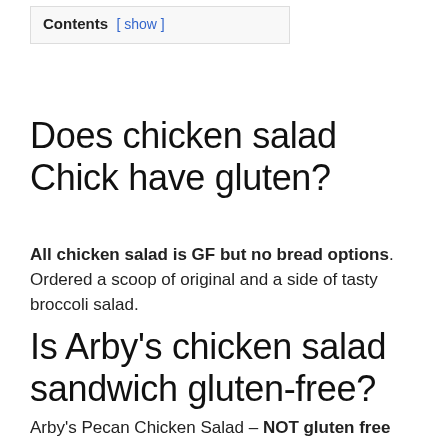Contents [ show ]
Does chicken salad Chick have gluten?
All chicken salad is GF but no bread options. Ordered a scoop of original and a side of tasty broccoli salad.
Is Arby’s chicken salad sandwich gluten-free?
Arby’s Pecan Chicken Salad – NOT gluten free
With more investigation you realize that